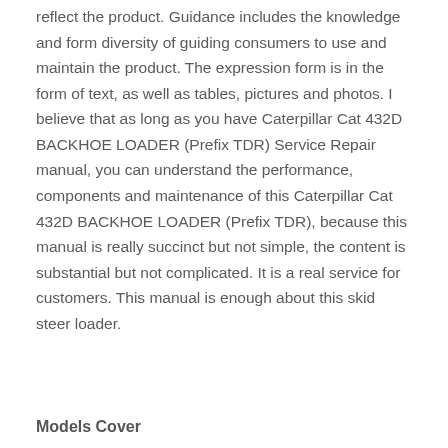reflect the product. Guidance includes the knowledge and form diversity of guiding consumers to use and maintain the product. The expression form is in the form of text, as well as tables, pictures and photos. I believe that as long as you have Caterpillar Cat 432D BACKHOE LOADER (Prefix TDR) Service Repair manual, you can understand the performance, components and maintenance of this Caterpillar Cat 432D BACKHOE LOADER (Prefix TDR), because this manual is really succinct but not simple, the content is substantial but not complicated. It is a real service for customers. This manual is enough about this skid steer loader.
Models Cover